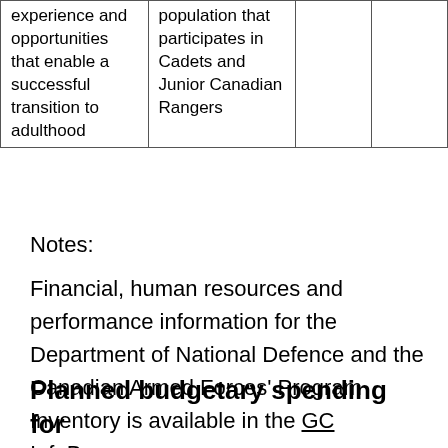| experience and opportunities that enable a successful transition to adulthood | population that participates in Cadets and Junior Canadian Rangers |  |  |
Notes:
Financial, human resources and performance information for the Department of National Defence and the Canadian Armed Forces' Program Inventory is available in the GC InfoBase.
Planned budgetary spending for